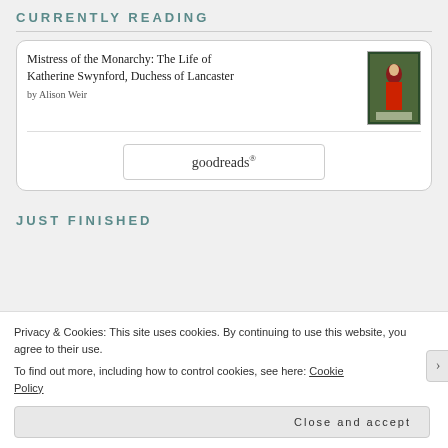CURRENTLY READING
Mistress of the Monarchy: The Life of Katherine Swynford, Duchess of Lancaster by Alison Weir
[Figure (logo): goodreads logo in a rounded rectangle button]
JUST FINISHED
Privacy & Cookies: This site uses cookies. By continuing to use this website, you agree to their use.
To find out more, including how to control cookies, see here: Cookie Policy